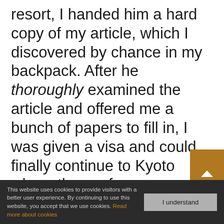resort, I handed him a hard copy of my article, which I discovered by chance in my backpack. After he thoroughly examined the article and offered me a bunch of papers to fill in, I was given a visa and could finally continue to Kyoto where the conference was starting the next day. I learned that I must always carefully read the fine print and notes about travel regulations — and that nothing beats having a paper printed copy of the research article.
This website uses cookies to provide visitors with a better user experience. By continuing to use this website, you accept that we use cookies. Read more about cookies